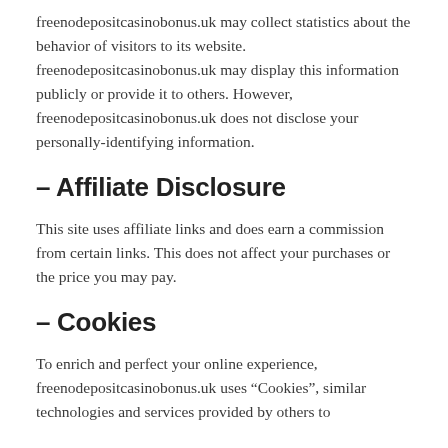freenodepositcasinobonus.uk may collect statistics about the behavior of visitors to its website. freenodepositcasinobonus.uk may display this information publicly or provide it to others. However, freenodepositcasinobonus.uk does not disclose your personally-identifying information.
– Affiliate Disclosure
This site uses affiliate links and does earn a commission from certain links. This does not affect your purchases or the price you may pay.
– Cookies
To enrich and perfect your online experience, freenodepositcasinobonus.uk uses “Cookies”, similar technologies and services provided by others to